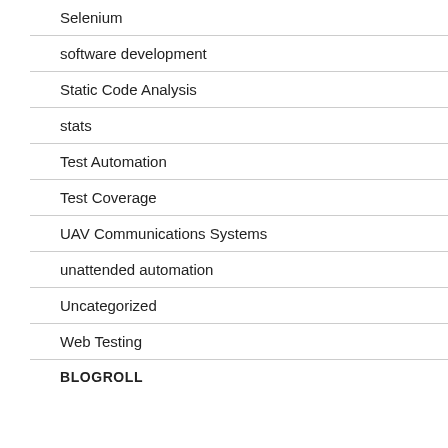Selenium
software development
Static Code Analysis
stats
Test Automation
Test Coverage
UAV Communications Systems
unattended automation
Uncategorized
Web Testing
BLOGROLL